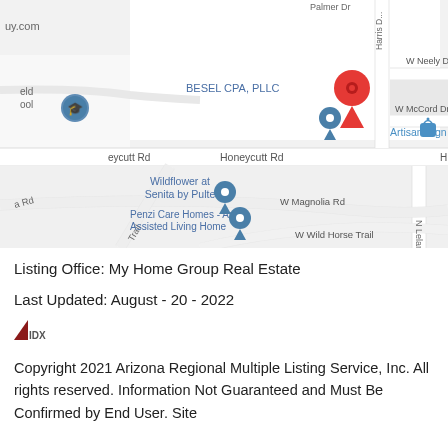[Figure (map): Google Maps screenshot showing location near Honeycutt Rd, W Neely Dr, W McCord Dr area. Shows markers for BESEL CPA PLLC, Wildflower at Senita by Pulte, Penzi Care Homes - An Assisted Living Home, and Artisan Sign. A red location pin marks the property location. Streets visible include Honeycutt Rd, W Neely Dr, W McCord Dr, W Magnolia Rd, W Wild Horse Trail, and N Leland Rd.]
Listing Office: My Home Group Real Estate
Last Updated: August - 20 - 2022
[Figure (logo): IDX logo - small triangular red/dark logo with IDX text]
Copyright 2021 Arizona Regional Multiple Listing Service, Inc. All rights reserved. Information Not Guaranteed and Must Be Confirmed by End User. Site